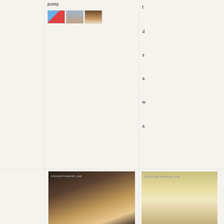pussy.
[Figure (photo): Small thumbnail icons: envelope/love letter icon, couple photo thumbnail, hair/person thumbnail]
f
d
s
a
w
a
[Figure (photo): Photo of blonde woman with watermark stluciatravelnet.com]
[Figure (photo): Photo of blonde woman with watermark stluciatravelnet.com]